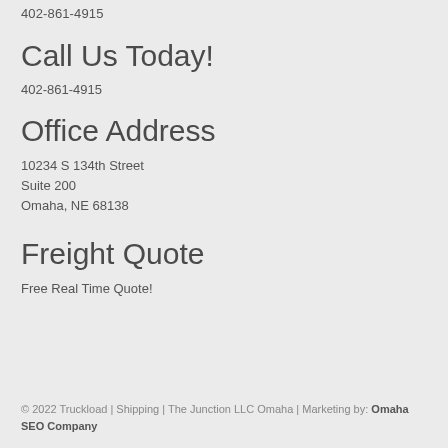402-861-4915
Call Us Today!
402-861-4915
Office Address
10234 S 134th Street
Suite 200
Omaha, NE 68138
Freight Quote
Free Real Time Quote!
© 2022 Truckload | Shipping | The Junction LLC Omaha | Marketing by: Omaha SEO Company